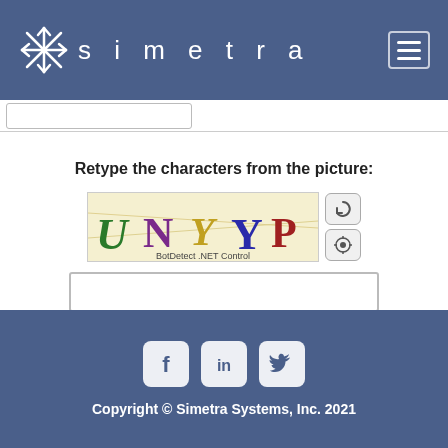[Figure (logo): Simetra logo with snowflake/asterisk icon and text 'simetra' in white on blue header background]
Retype the characters from the picture:
[Figure (other): CAPTCHA image showing letters UNYP in colorful stylized fonts on yellow background, with BotDetect .NET Control label, and two small buttons (refresh and audio)]
Request Free Quote
Copyright © Simetra Systems, Inc. 2021